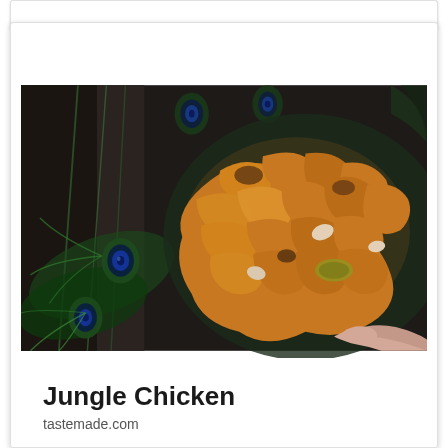[Figure (photo): A photo of Jungle Chicken dish — spiced, roasted golden-brown chicken pieces with garlic and herbs, served in a dark bowl surrounded by vibrant peacock feathers with iridescent blue-green eye patterns. A hand is reaching in from the bottom right. The overall mood is dark and dramatic.]
Jungle Chicken
tastemade.com